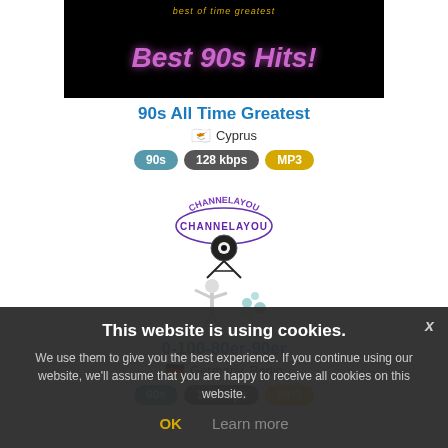[Figure (screenshot): Black background image showing '90s All Time Greatest' text with '90s All Time Greatest!' in pink/purple glowing font]
90s All Time Greatest
Cyprus
90s  128 kbps  MP3
[Figure (logo): CHANNELAYOU logo with record/camera icon and figure with flowers]
0-100-80er-90er
Germany, Berlin
90s  128 kbps  MP3
This website is using cookies. We use them to give you the best experience. If you continue using our website, we'll assume that you are happy to receive all cookies on this website. OK  Learn more